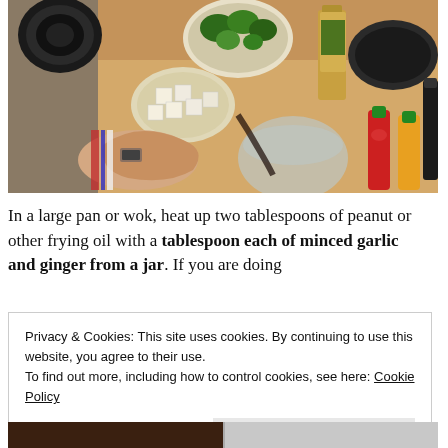[Figure (photo): Overhead view of a kitchen counter with ingredients for a stir-fry: bowls of broccoli and cubed tofu, a glass bowl, condiment bottles including soy sauce and hot sauce, and a person's hands pouring liquid from a bottle. Wooden cutting board surface visible.]
In a large pan or wok, heat up two tablespoons of peanut or other frying oil with a tablespoon each of minced garlic and ginger from a jar.  If you are doing
Privacy & Cookies: This site uses cookies. By continuing to use this website, you agree to their use.
To find out more, including how to control cookies, see here: Cookie Policy
Close and accept
[Figure (photo): Partial view of the bottom of the page showing another cooking photo, cropped.]